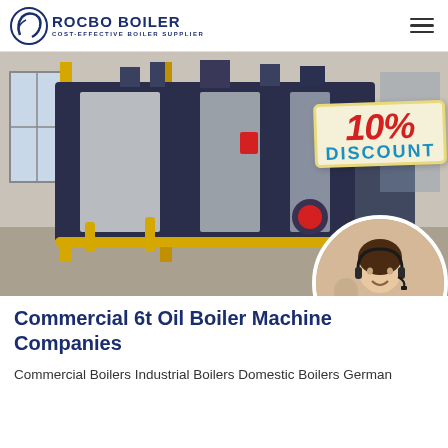[Figure (logo): Rocbo Boiler logo with circular swoosh icon and text 'ROCBO BOILER / COST-EFFECTIVE BOILER SUPPLIER']
[Figure (photo): Industrial oil boiler machine in a warehouse/factory setting, large dark blue and silver rectangular unit with yellow piping, with a 10% DISCOUNT badge overlay and a customer service representative photo in a circle bottom right]
Commercial 6t Oil Boiler Machine Companies
Commercial Boilers Industrial Boilers Domestic Boilers German